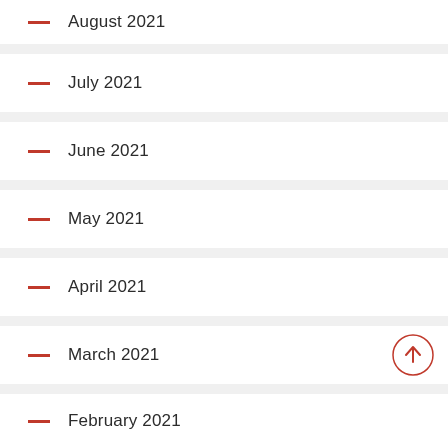August 2021
July 2021
June 2021
May 2021
April 2021
March 2021
February 2021